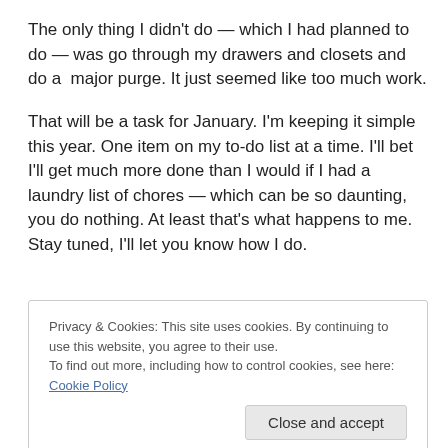The only thing I didn't do — which I had planned to do — was go through my drawers and closets and do a  major purge. It just seemed like too much work.
That will be a task for January. I'm keeping it simple this year. One item on my to-do list at a time. I'll bet I'll get much more done than I would if I had a laundry list of chores — which can be so daunting, you do nothing. At least that's what happens to me. Stay tuned, I'll let you know how I do.
Privacy & Cookies: This site uses cookies. By continuing to use this website, you agree to their use.
To find out more, including how to control cookies, see here: Cookie Policy